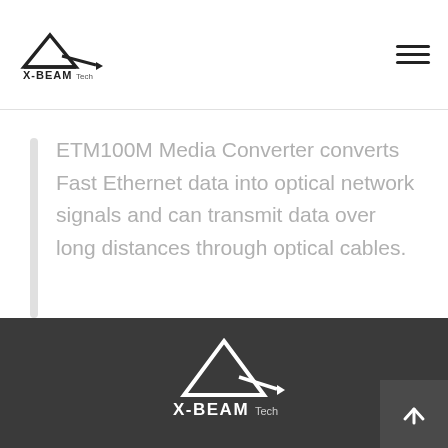X-BEAM Tech
ETM100M Media Converter converts Fast Ethernet data into optical network signals and can transmit data over long distances through optical cables.
X-BEAM footer logo